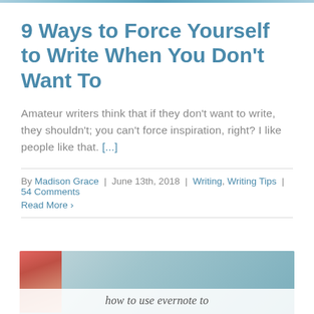9 Ways to Force Yourself to Write When You Don't Want To
Amateur writers think that if they don't want to write, they shouldn't; you can't force inspiration, right? I like people like that. [...]
By Madison Grace | June 13th, 2018 | Writing, Writing Tips | 54 Comments
Read More ›
[Figure (photo): Partial image showing craft supplies/pencils on left side with teal/blue background, and a white band at the bottom with italic text 'how to use evernote to']